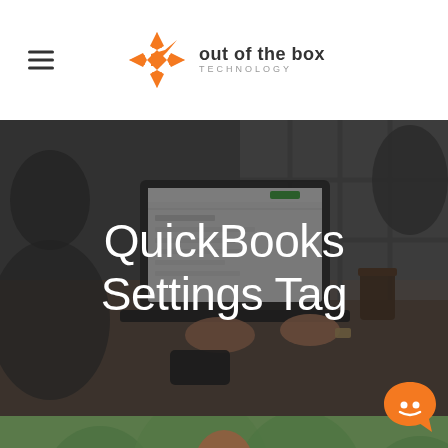Out of the Box Technology — navigation header with logo
[Figure (photo): Hero image of people working around a table with a laptop showing QuickBooks interface, dark overlay, text 'QuickBooks Settings Tag' centered in white]
[Figure (photo): Bottom photo of a bearded man with glasses working, green plant wall background]
[Figure (illustration): Orange chat/support bubble icon in the bottom right corner]